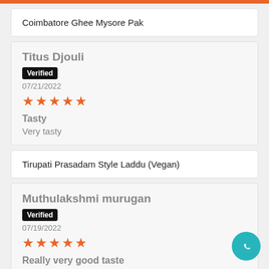Coimbatore Ghee Mysore Pak
Titus Djouli
Verified
07/21/2022
★★★★★
Tasty
Very tasty
Tirupati Prasadam Style Laddu (Vegan)
Muthulakshmi murugan
Verified
07/19/2022
★★★★★
Really very good taste